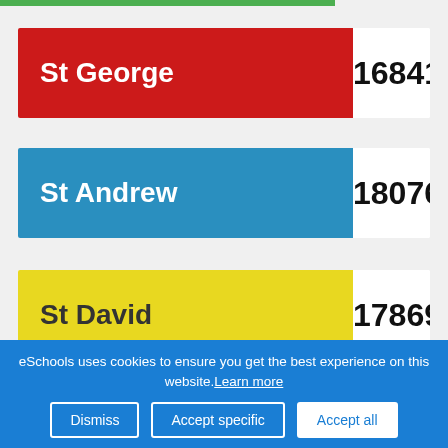[Figure (infographic): Partial green progress bar at the top of the page]
St George 16841
St Andrew 18076
St David 17869
Holy Trinity CE Academy
eSchools uses cookies to ensure you get the best experience on this website. Learn more
Dismiss  Accept specific  Accept all